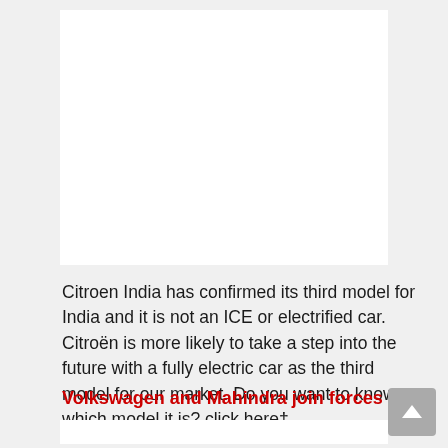[Figure (other): White card placeholder image area at top]
Citroen India has confirmed its third model for India and it is not an ICE or electrified car. Citroën is more likely to take a step into the future with a fully electric car as the third model for our market. Do you want to know which model it is? click here†
Volkswagen and Mahindra join forces
[Figure (other): White card placeholder image area at bottom]